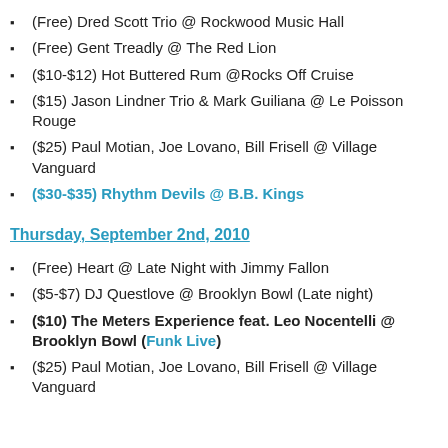(Free) Dred Scott Trio @ Rockwood Music Hall
(Free) Gent Treadly @ The Red Lion
($10-$12) Hot Buttered Rum @Rocks Off Cruise
($15) Jason Lindner Trio & Mark Guiliana @ Le Poisson Rouge
($25) Paul Motian, Joe Lovano, Bill Frisell @ Village Vanguard
($30-$35) Rhythm Devils @ B.B. Kings
Thursday, September 2nd, 2010
(Free) Heart @ Late Night with Jimmy Fallon
($5-$7) DJ Questlove @ Brooklyn Bowl (Late night)
($10) The Meters Experience feat. Leo Nocentelli @ Brooklyn Bowl (Funk Live)
($25) Paul Motian, Joe Lovano, Bill Frisell @ Village Vanguard